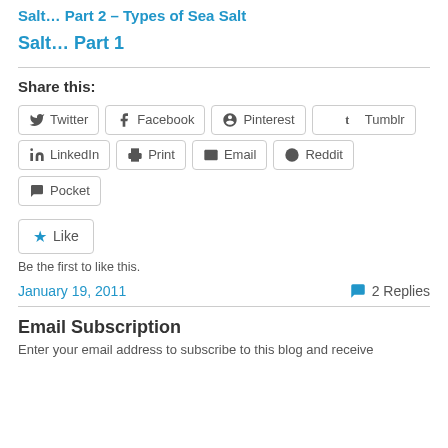Salt… Part 2 – Types of Sea Salt
Salt… Part 1
Share this:
Twitter
Facebook
Pinterest
Tumblr
LinkedIn
Print
Email
Reddit
Pocket
Like
Be the first to like this.
January 19, 2011
2 Replies
Email Subscription
Enter your email address to subscribe to this blog and receive